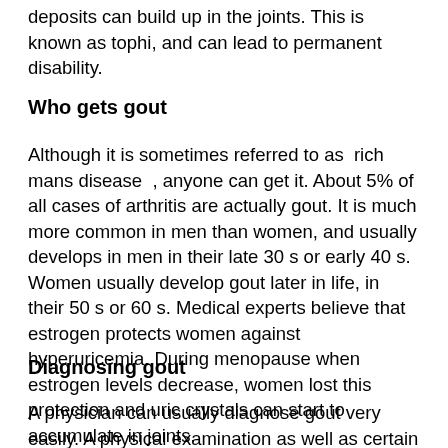deposits can build up in the joints. This is known as tophi, and can lead to permanent disability.
Who gets gout
Although it is sometimes referred to as ‘rich mans disease’, anyone can get it. About 5% of all cases of arthritis are actually gout. It is much more common in men than women, and usually develops in men in their late 30’s or early 40’s. Women usually develop gout later in life, in their 50’s or 60’s. Medical experts believe that estrogen protects women against hyperuricemia. During menopause when estrogen levels decrease, women lost this protection and uric crystals can start to accumulate in joints.
Diagnosing gout
A physician can usually diagnose gout very easily. A physical examination as well as certain tests are